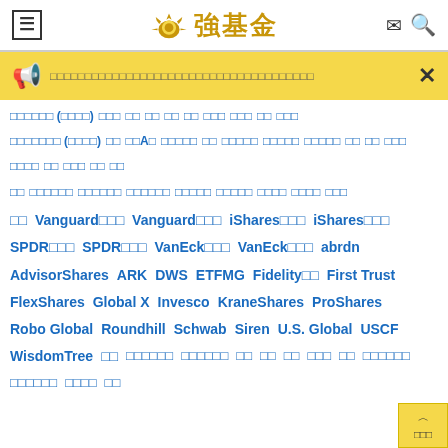≡ 強基金 ✉ 🔍
📢 [banner announcement text in Chinese characters]  ✕
□□□□□□ (□□□□)  □□□  □□  □□  □□  □□  □□□  □□□  □□  □□□
□□□□□□□ (□□□□)  □□  □□A□  □□□□□  □□  □□□□□  □□□□□  □□□□□  □□  □□  □□□  □□□□  □□  □□□  □□  □□
□□  □□□□□□  □□□□□□  □□□□□□  □□□□□  □□□□□  □□□□  □□□□  □□□
□□  Vanguard□□□  Vanguard□□□  iShares□□□  iShares□□□  SPDR□□□  SPDR□□□  VanEck□□□  VanEck□□□  abrdn  AdvisorShares  ARK  DWS  ETFMG  Fidelity□□  First Trust  FlexShares  Global X  Invesco  KraneShares  ProShares  Robo Global  Roundhill  Schwab  Siren  U.S. Global  USCF  WisdomTree  □□  □□□□□□  □□□□□□  □□  □□  □□  □□□  □□  □□□□□□  □□□□□□  □□□□  □□